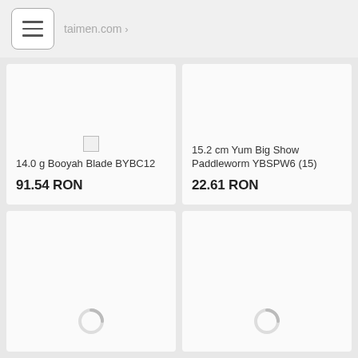taimen.com
[Figure (screenshot): Product card: 14.0 g Booyah Blade BYBC12, price 91.54 RON, with a small placeholder image icon]
[Figure (screenshot): Product card: 15.2 cm Yum Big Show Paddleworm YBSPW6 (15), price 22.61 RON, no image loaded]
[Figure (screenshot): Product card: bottom-left, image loading spinner visible, product name and price not visible]
[Figure (screenshot): Product card: bottom-right, image loading spinner visible, product name and price not visible]